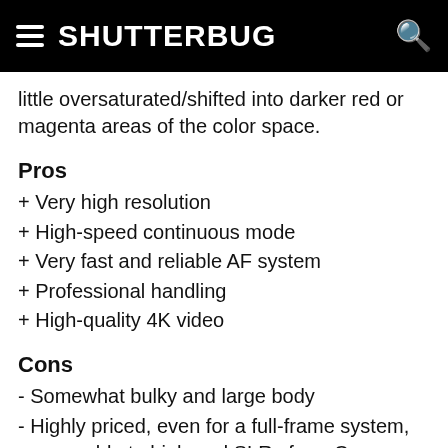SHUTTERBUG
little oversaturated/shifted into darker red or magenta areas of the color space.
Pros
+ Very high resolution
+ High-speed continuous mode
+ Very fast and reliable AF system
+ Professional handling
+ High-quality 4K video
Cons
- Somewhat bulky and large body
- Highly priced, even for a full-frame system, comparable to high-end SLRs from Canon and Nikon and on the same level as the Sony A7R II